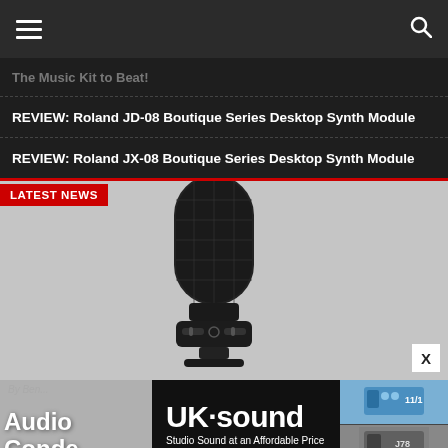Navigation bar with hamburger menu and search icon
The Music Kit to Beat!
REVIEW: Roland JD-08 Boutique Series Desktop Synth Module
REVIEW: Roland JX-08 Boutique Series Desktop Synth Module
[Figure (photo): Close-up photo of a black condenser studio microphone against a gray background with 'LATEST NEWS' badge overlay]
By Ben...
Audio... Conde...
[Figure (advertisement): UK Sound advertisement: 'UKsound - Studio Sound at an Affordable Price' on black background]